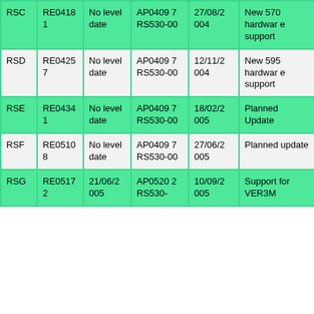| RSC | RE04181 | No level date | AP04097
RS530-00 | 27/08/2004 | New 570 hardware support |
| RSD | RE04257 | No level date | AP04097
RS530-00 | 12/11/2004 | New 595 hardware support |
| RSE | RE04341 | No level date | AP04097
RS530-00 | 18/02/2005 | Planned Update |
| RSF | RE05108 | No level date | AP04097
RS530-00 | 27/06/2005 | Planned update |
| RSG | RE05172 | 21/06/2005 | AP05202
RS530- | 10/09/2005 | Support for VER3M |